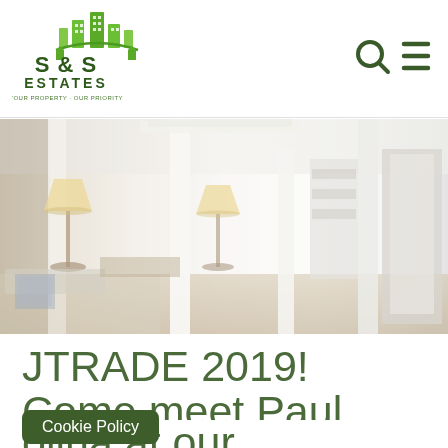S & S ESTATES — YOUR PROPERTY · OUR PRIORITY
[Figure (photo): Interior photo of a bright, airy open-plan living room and kitchen with white walls, lamps, and contemporary furnishings]
JTRADE 2019! Come meet Paul olina at our
Cookie Policy